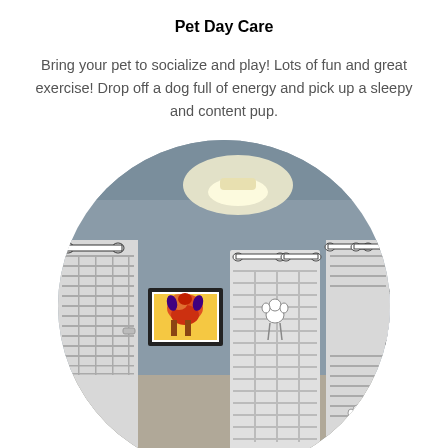Pet Day Care
Bring your pet to socialize and play! Lots of fun and great exercise! Drop off a dog full of energy and pick up a sleepy and content pup.
[Figure (photo): Circular-cropped photo of a pet daycare facility interior showing white metal pet kennels/crates arranged along a gray-blue wall, with framed dog artwork on the wall between kennels, bone-shaped decorations on the kennel doors, and a ceiling light illuminating the room.]